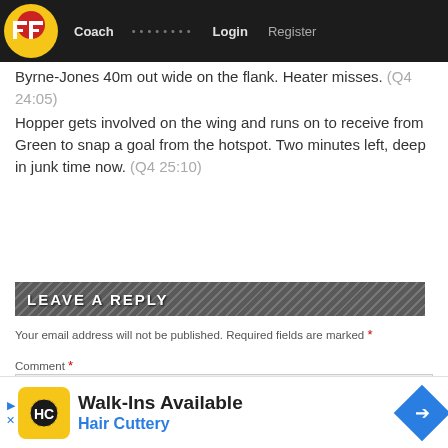FF  Coach  ••••••••  Login  Register
Byrne-Jones 40m out wide on the flank. Heater misses. (Q4 24:05)
Hopper gets involved on the wing and runs on to receive from Green to snap a goal from the hotspot. Two minutes left, deep in junk time now. (Q4 25:10)
LEAVE A REPLY
Your email address will not be published. Required fields are marked *
Comment *
[Figure (other): Hair Cuttery advertisement banner with Walk-Ins Available text]